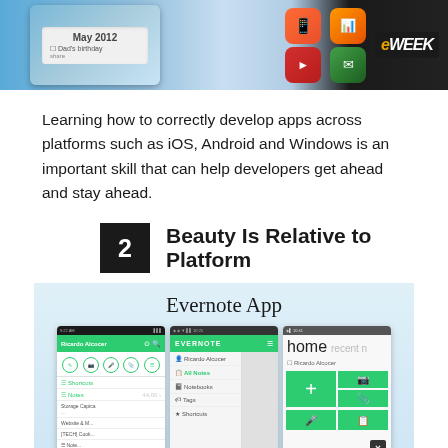[Figure (screenshot): Top banner image showing smartphone screens with iOS calendar app showing May 2012 and Dad's birthday, colorful app icons, and eWEEK logo on dark background]
Learning how to correctly develop apps across platforms such as iOS, Android and Windows is an important skill that can help developers get ahead and stay ahead.
2  Beauty Is Relative to Platform
[Figure (screenshot): Evernote App shown across three platform screenshots: iOS, Android, and Windows Phone versions of the Evernote application]